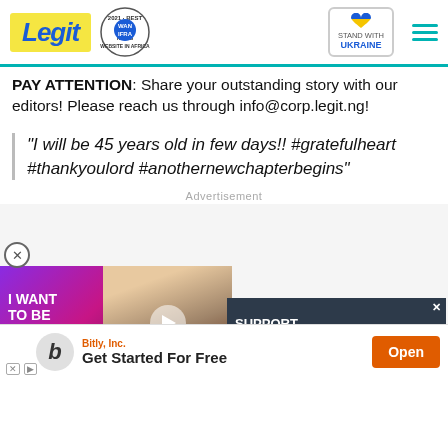Legit | WAN IFRA 2021 Best News Website in Africa | Stand with Ukraine
PAY ATTENTION: Share your outstanding story with our editors! Please reach us through info@corp.legit.ng!
“I will be 45 years old in few days!! #gratefulheart #thankyoulord #anothernewchapterbegins”
[Figure (screenshot): Advertisement area with video player showing 'I WANT TO BE WITH HER Forever' and a couple photo, plus a 'SUPPORT ERS! LIFE OF GIRL AT RISK Donate now!' banner and a red down-arrow button. Bottom shows Bitly Inc. 'Get Started For Free' app install banner.]